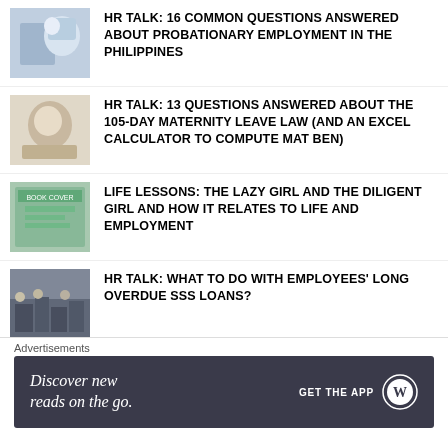HR TALK: 16 COMMON QUESTIONS ANSWERED ABOUT PROBATIONARY EMPLOYMENT IN THE PHILIPPINES
HR TALK: 13 QUESTIONS ANSWERED ABOUT THE 105-DAY MATERNITY LEAVE LAW (AND AN EXCEL CALCULATOR TO COMPUTE MAT BEN)
LIFE LESSONS: THE LAZY GIRL AND THE DILIGENT GIRL AND HOW IT RELATES TO LIFE AND EMPLOYMENT
HR TALK: WHAT TO DO WITH EMPLOYEES' LONG OVERDUE SSS LOANS?
HR TALK: DID YOU KNOW SSS PROVIDES FUNERAL BENEFITS (IT'S PHP 20,000 TO 40,000!)?
Advertisements
[Figure (infographic): WordPress app advertisement banner: 'Discover new reads on the go.' with GET THE APP button and WordPress logo]